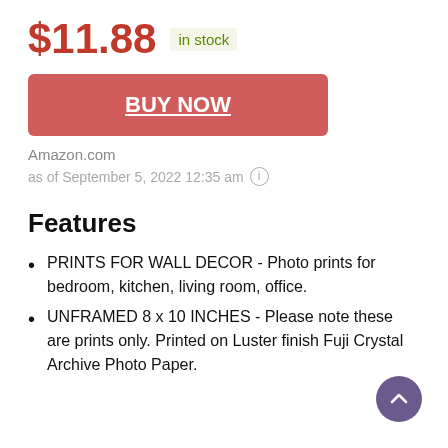$11.88  in stock
BUY NOW
Amazon.com
as of September 5, 2022 12:35 am ⓘ
Features
PRINTS FOR WALL DECOR - Photo prints for bedroom, kitchen, living room, office.
UNFRAMED 8 x 10 INCHES - Please note these are prints only. Printed on Luster finish Fuji Crystal Archive Photo Paper.